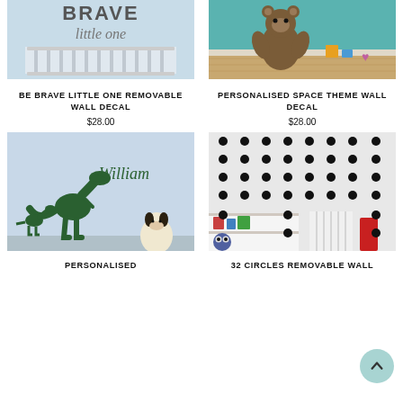[Figure (photo): Photo of a nursery crib with 'Brave little one' wall decal on a light blue wall]
BE BRAVE LITTLE ONE REMOVABLE WALL DECAL
$28.00
[Figure (photo): Photo of a teddy bear sitting on a wooden floor against a teal wall with toys]
PERSONALISED SPACE THEME WALL DECAL
$28.00
[Figure (photo): Photo of a dinosaur wall decal with the name William on a light blue wall with a stuffed dog]
PERSONALISED
[Figure (photo): Photo of 32 black circle polka dot removable wall decals on a white wall with a shelf and books]
32 CIRCLES REMOVABLE WALL